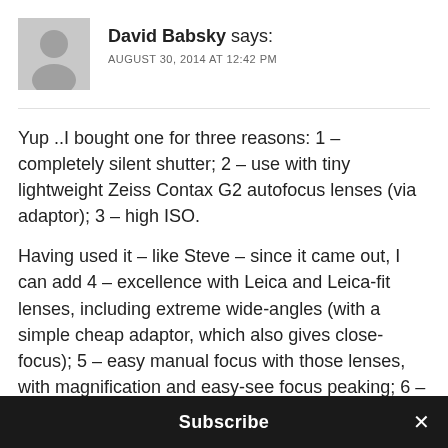[Figure (illustration): Gray avatar placeholder image of a person silhouette]
David Babsky says:
AUGUST 30, 2014 AT 12:42 PM
Yup ..I bought one for three reasons: 1 – completely silent shutter; 2 – use with tiny lightweight Zeiss Contax G2 autofocus lenses (via adaptor); 3 – high ISO.
Having used it – like Steve – since it came out, I can add 4 – excellence with Leica and Leica-fit lenses, including extreme wide-angles (with a simple cheap adaptor, which also gives close-focus); 5 – easy manual focus with those lenses, with magnification and easy-see focus peaking; 6 – full-frame shallow depth-of-field with suitable wide-aperture lenses; 7 – lightweight, small body and decent life battery (two
Subscribe ×